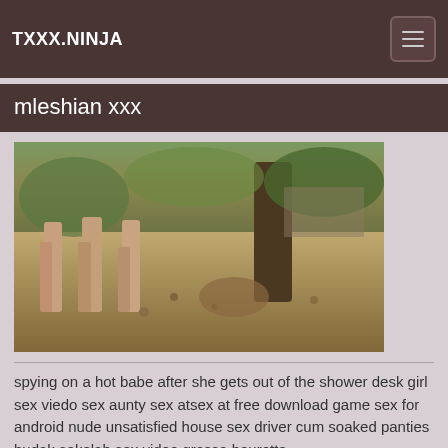TXXX.NINJA
mleshian xxx
[Figure (photo): Outdoor photo showing people from the waist down standing on sandy ground with trees and vegetation in background]
spying on a hot babe after she gets out of the shower desk girl sex viedo sex aunty sex atsex at free download game sex for android nude unsatisfied house sex driver cum soaked panties budak sekolah sex video grosso bourotto